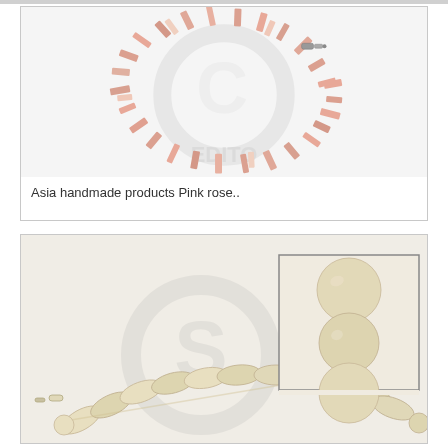[Figure (photo): Pink rose shell chip bracelet with metal clasp, shown in an oval arrangement. Watermark overlaid on image.]
Asia handmade products Pink rose..
[Figure (photo): Light tan/cream wooden bead necklace with oval and round beads arranged in a strand. An inset close-up image shows three large round wooden beads. Watermark overlaid on main image.]